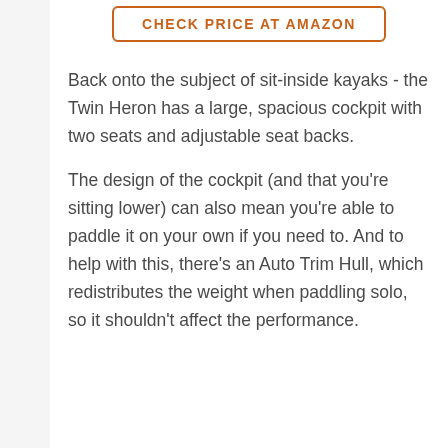[Figure (other): Button with orange border and text: CHECK PRICE AT AMAZON]
Back onto the subject of sit-inside kayaks - the Twin Heron has a large, spacious cockpit with two seats and adjustable seat backs.
The design of the cockpit (and that you're sitting lower) can also mean you're able to paddle it on your own if you need to. And to help with this, there's an Auto Trim Hull, which redistributes the weight when paddling solo, so it shouldn't affect the performance.